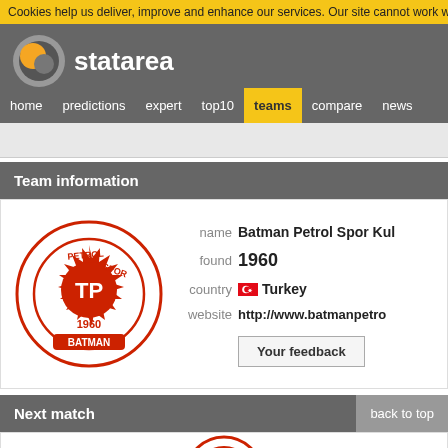Cookies help us deliver, improve and enhance our services. Our site cannot work wit
[Figure (logo): Statarea logo with orange and grey circle and white text 'statarea']
home  predictions  expert  top10  teams  compare  news
Team information
[Figure (logo): Batman Petrol Spor Kulubu circular badge logo with TP initials and 1960 BATMAN text in red]
name  Batman Petrol Spor Kul
found  1960
country  Turkey
website  http://www.batmanpetro
Your feedback
Next match
back to top